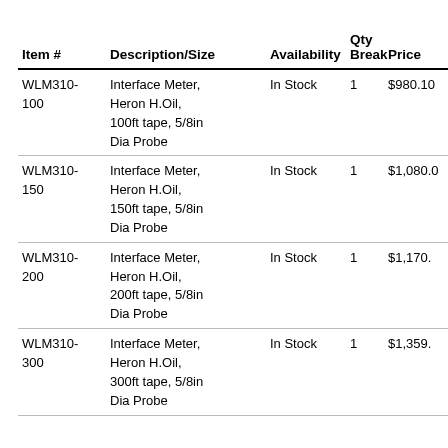| Item # | Description/Size | Availability | Qty Break | Price |
| --- | --- | --- | --- | --- |
| WLM310-100 | Interface Meter, Heron H.Oil, 100ft tape, 5/8in Dia Probe | In Stock | 1 | $980.10 |
| WLM310-150 | Interface Meter, Heron H.Oil, 150ft tape, 5/8in Dia Probe | In Stock | 1 | $1,080.0 |
| WLM310-200 | Interface Meter, Heron H.Oil, 200ft tape, 5/8in Dia Probe | In Stock | 1 | $1,170. |
| WLM310-300 | Interface Meter, Heron H.Oil, 300ft tape, 5/8in Dia Probe | In Stock | 1 | $1,359. |